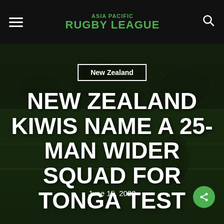ASIA PACIFIC RUGBY LEAGUE
[Figure (photo): Rugby league players in action on field at a stadium at night, dark background with stadium crowd and signage visible]
New Zealand
NEW ZEALAND KIWIS NAME A 25-MAN WIDER SQUAD FOR TONGA TEST
June 15, 2022